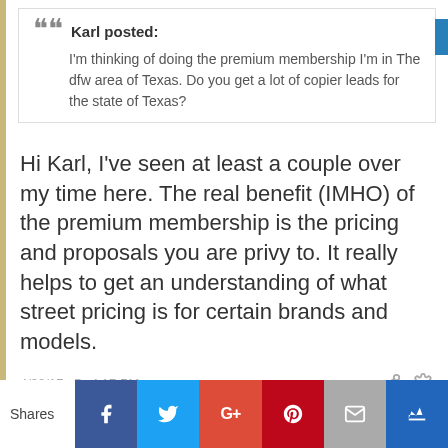Karl posted: I'm thinking of doing the premium membership I'm in The dfw area of Texas. Do you get a lot of copier leads for the state of Texas?
Hi Karl, I've seen at least a couple over my time here. The real benefit (IMHO) of the premium membership is the pricing and proposals you are privy to. It really helps to get an understanding of what street pricing is for certain brands and models.
4/20/17 @ 4:17 PM
0
Shares